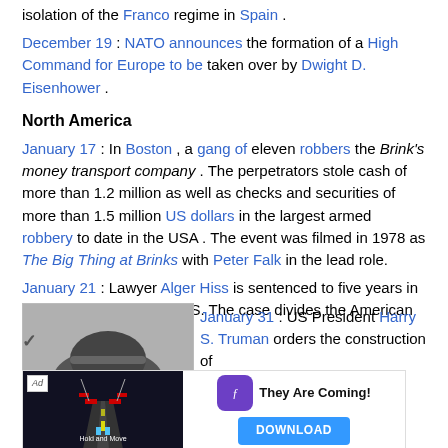isolation of the Franco regime in Spain .
December 19 : NATO announces the formation of a High Command for Europe to be taken over by Dwight D. Eisenhower .
North America
January 17 : In Boston , a gang of eleven robbers the Brink's money transport company . The perpetrators stole cash of more than 1.2 million as well as checks and securities of more than 1.5 million US dollars in the largest armed robbery to date in the USA . The event was filmed in 1978 as The Big Thing at Brinks with Peter Falk in the lead role.
January 21 : Lawyer Alger Hiss is sentenced to five years in prison for perjury in the US. The case divides the American public.
[Figure (photo): Black and white photo of a person wearing a military cap]
January 31 : US President Harry S. Truman orders the construction of
[Figure (infographic): Advertisement overlay: Follic game ad with road graphic and Download button. Text: They Are Coming!]